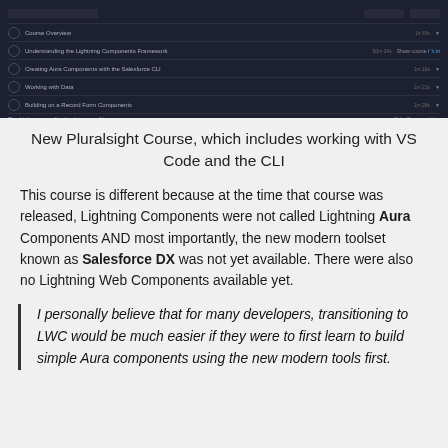[Figure (screenshot): Screenshot of a Pluralsight course page showing a dark-themed course overview interface with course modules listed]
New Pluralsight Course, which includes working with VS Code and the CLI
This course is different because at the time that course was released, Lightning Components were not called Lightning Aura Components AND most importantly, the new modern toolset known as Salesforce DX was not yet available. There were also no Lightning Web Components available yet.
I personally believe that for many developers, transitioning to LWC would be much easier if they were to first learn to build simple Aura components using the new modern tools first.